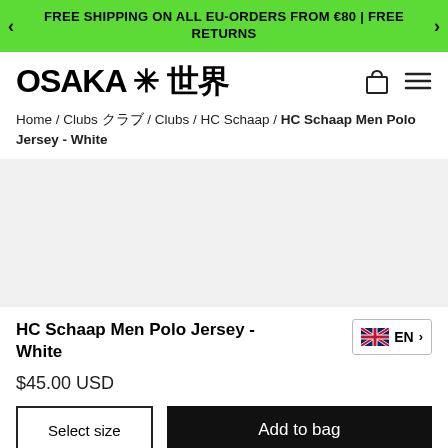FREE SHIPPING ON ALL EU-ORDERS FROM €80 | FREE RETURNS
[Figure (logo): OSAKA 大阪 世界 brand logo with decorative asterisk symbol]
Home / Clubs クラブ / Clubs / HC Schaap / HC Schaap Men Polo Jersey - White
[Figure (photo): Product image area - light gray placeholder for HC Schaap Men Polo Jersey White]
HC Schaap Men Polo Jersey - White
$45.00 USD
Select size
Add to bag